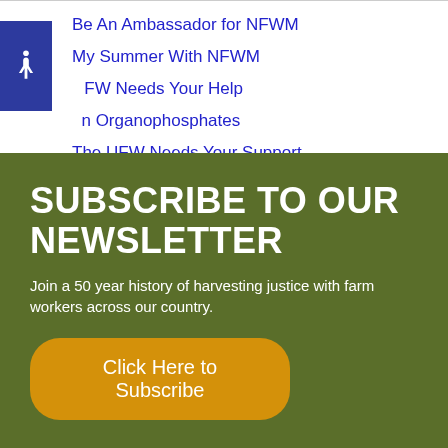Be An Ambassador for NFWM
My Summer With NFWM
FW Needs Your Help
n Organophosphates
The UFW Needs Your Support
SUBSCRIBE TO OUR NEWSLETTER
Join a 50 year history of harvesting justice with farm workers across our country.
Click Here to Subscribe